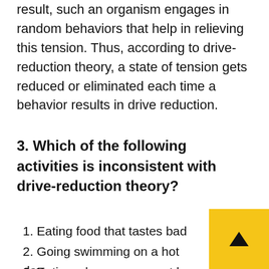result, such an organism engages in random behaviors that help in relieving this tension. Thus, according to drive-reduction theory, a state of tension gets reduced or eliminated each time a behavior results in drive reduction.
3. Which of the following activities is inconsistent with drive-reduction theory?
1. Eating food that tastes bad
2. Going swimming on a hot day
3. Eating when you are not hungry